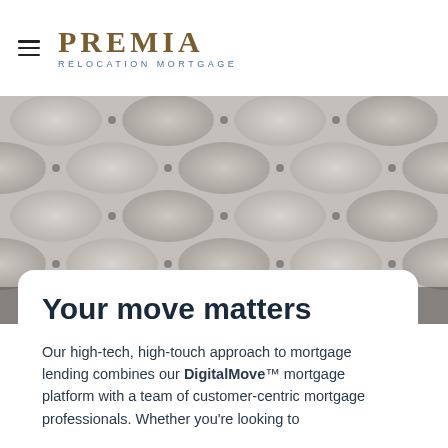[Figure (logo): Premia Relocation Mortgage logo with hamburger menu icon]
[Figure (photo): Tufted grey upholstered headboard or sofa with two people partially visible in the lower portion]
Your move matters
Our high-tech, high-touch approach to mortgage lending combines our DigitalMove™ mortgage platform with a team of customer-centric mortgage professionals. Whether you're looking to